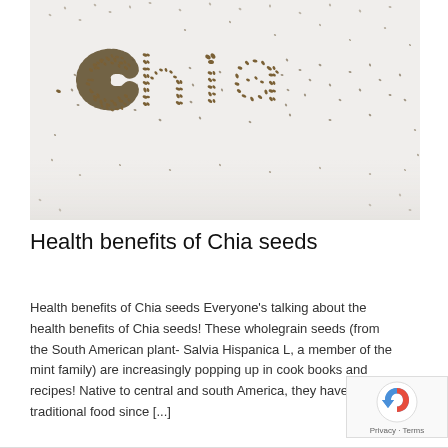[Figure (photo): Chia seeds arranged to spell out the word 'chia' in lowercase letters on a white background]
Health benefits of Chia seeds
Health benefits of Chia seeds Everyone's talking about the health benefits of Chia seeds! These wholegrain seeds (from the South American plant- Salvia Hispanica L, a member of the mint family) are increasingly popping up in cook books and recipes! Native to central and south America, they have been a traditional food since [...]
[Figure (logo): reCAPTCHA badge with Privacy and Terms text]